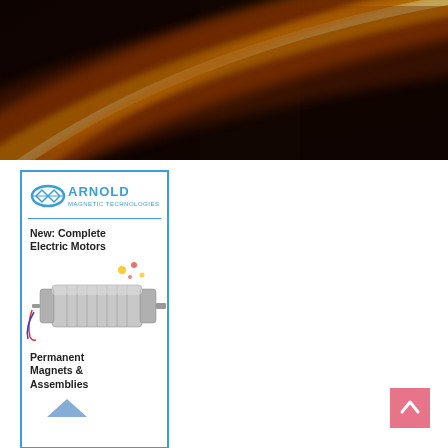[Figure (photo): Abstract macro photo showing smooth curved surface with orange and yellow gradient streaks against dark background, likely a close-up of a metallic or magnetic component]
[Figure (illustration): Arnold Magnetic Technologies advertisement banner. Shows Arnold logo with text 'New: Complete Electric Motors', an electric motor image, and text 'Permanent Magnets & Assemblies'. Blue border, white background.]